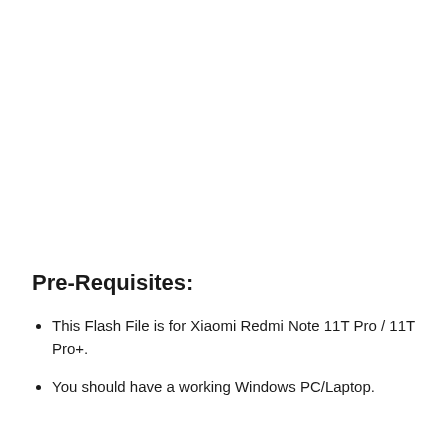Pre-Requisites:
This Flash File is for Xiaomi Redmi Note 11T Pro / 11T Pro+.
You should have a working Windows PC/Laptop.